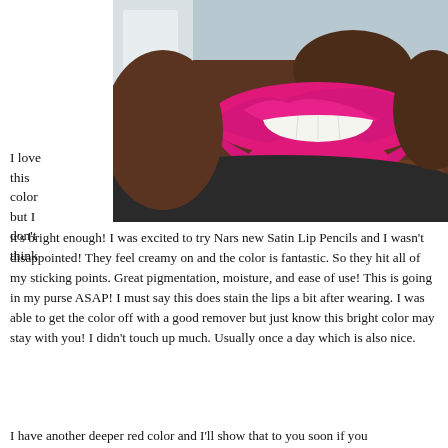[Figure (photo): Close-up photo of a person's lips wearing bright magenta/pink matte lipstick, with partial view of nose, teeth, and chin. Person has dark skin tone and is wearing a dark top. Background shows a blurred room interior.]
I love this color but I don't think it's bright enough! I was excited to try Nars new Satin Lip Pencils and I wasn't disappointed! They feel creamy on and the color is fantastic. So they hit all of my sticking points. Great pigmentation, moisture, and ease of use! This is going in my purse ASAP! I must say this does stain the lips a bit after wearing. I was able to get the color off with a good remover but just know this bright color may stay with you! I didn't touch up much. Usually once a day which is also nice.
I have another deeper red color and I'll show that to you soon if you